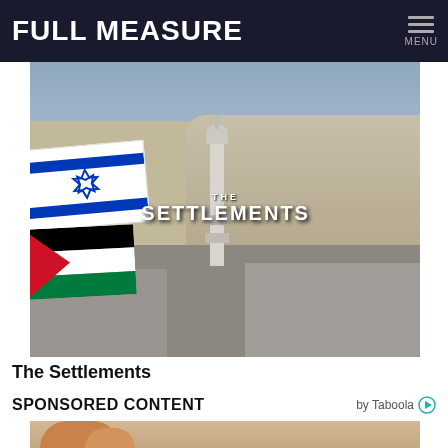FULL MEASURE
[Figure (photo): Aerial/cityscape photo of Middle Eastern city with Israeli and Palestinian flags visible and a mosque minaret in the center. Text overlay reads 'THE SETTLEMENTS'.]
The Settlements
SPONSORED CONTENT
[Figure (photo): Photo of an orange/ginger cat, partially visible at the bottom of the page.]